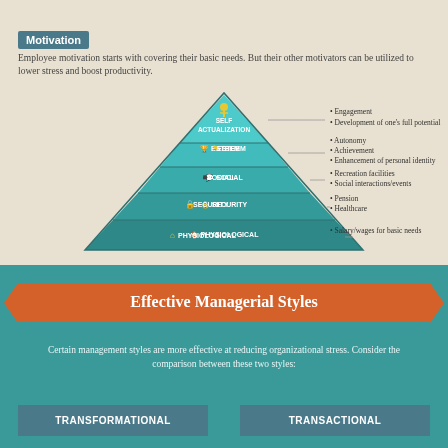Motivation
Employee motivation starts with covering their basic needs. But their other motivators can be utilized to lower stress and boost productivity.
[Figure (infographic): Maslow's hierarchy of needs pyramid with 5 levels: PHYSIOLOGICAL (bottom), SECURITY, SOCIAL, ESTEEM, SELF ACTUALIZATION (top). Each level has bullet points listing motivators: Physiological - Salary/wages for basic needs; Security - Pension, Healthcare; Social - Recreation facilities, Social interactions/events; Esteem - Autonomy, Achievement, Enhancement of personal identity; Self Actualization - Engagement, Development of one's full potential.]
Effective Managerial Styles
Certain management styles are more effective at reducing organizational stress. Consider the comparison between these two styles:
TRANSFORMATIONAL
TRANSACTIONAL